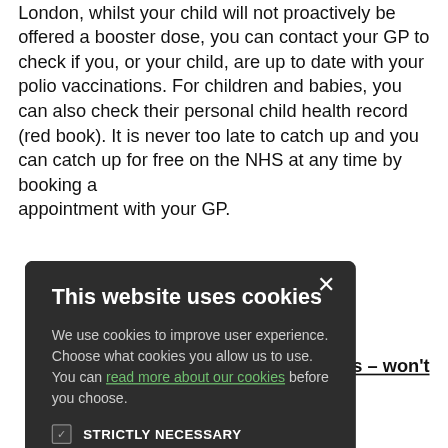London, whilst your child will not proactively be offered a booster dose, you can contact your GP to check if you, or your child, are up to date with your polio vaccinations. For children and babies, you can also check their personal child health record (red book). It is never too late to catch up and you can catch up for free on the NHS at any time by booking a...
[Figure (screenshot): Cookie consent modal dialog with dark background. Title: 'This website uses cookies'. Body text about cookies. Checkboxes for STRICTLY NECESSARY (checked), PERFORMANCE, TARGETING, FUNCTIONALITY. Two buttons: ACCEPT ALL (green) and DECLINE ALL (outline).]
nes – won't
ects from
s also means
nfections from
he doctor.
?
ed in North and
Medicines and
HRA), has
he extent of
-15 sites
ding outside of
London.